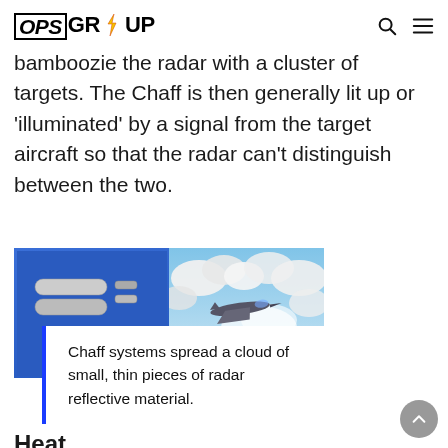OPS GROUP
bamboozie the radar with a cluster of targets. The Chaff is then generally lit up or 'illuminated' by a signal from the target aircraft so that the radar can't distinguish between the two.
[Figure (photo): Two-panel composite photo: left panel shows chaff cartridges/dispensers on a blue background; right panel shows a military jet aircraft releasing chaff clouds against a cloudy sky.]
Chaff systems spread a cloud of small, thin pieces of radar reflective material.
Heat